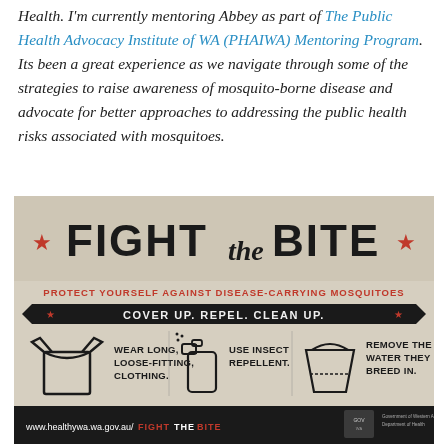Health. I'm currently mentoring Abbey as part of The Public Health Advocacy Institute of WA (PHAIWA) Mentoring Program. Its been a great experience as we navigate through some of the strategies to raise awareness of mosquito-borne disease and advocate for better approaches to addressing the public health risks associated with mosquitoes.
[Figure (infographic): Fight the Bite infographic. Header: FIGHT the BITE with red stars on either side. Subheader in red: PROTECT YOURSELF AGAINST DISEASE-CARRYING MOSQUITOES. Banner: COVER UP. REPEL. CLEAN UP. Three icons with text: shirt icon - WEAR LONG, LOOSE-FITTING, CLOTHING.; spray bottle icon - USE INSECT REPELLENT.; bucket icon - REMOVE THE WATER THEY BREED IN. Footer bar: www.healthywa.wa.gov.au/FIGHTTHEBITE with Government of Western Australia Department of Health logo.]